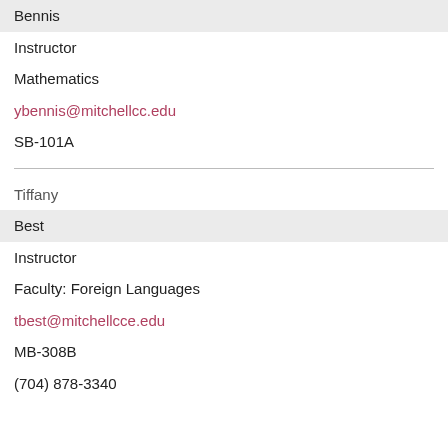Bennis
Instructor
Mathematics
ybennis@mitchellcc.edu
SB-101A
Tiffany
Best
Instructor
Faculty: Foreign Languages
tbest@mitchellcce.edu
MB-308B
(704) 878-3340